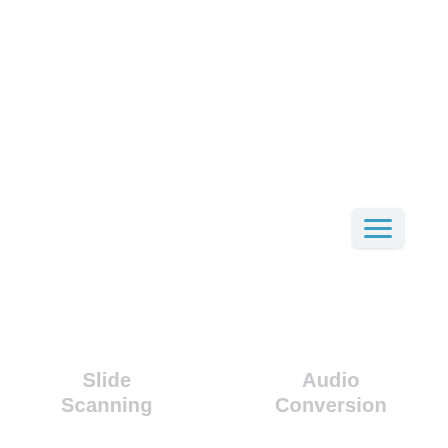[Figure (screenshot): A hamburger menu button icon with three horizontal blue lines on a light grey/white rounded rectangle background, positioned in the upper right area of the page.]
Slide Scanning
Audio Conversion